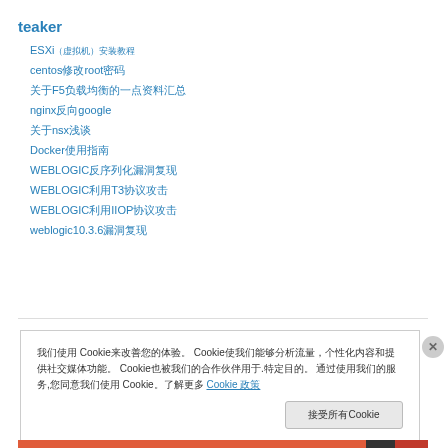teaker
ESXi（虚拟机）安装教程
centos修改root密码
关于F5负载均衡的一点资料汇总
nginx反向google
关于nsx浅谈
Docker使用指南
WEBLOGIC反序列化漏洞复现
WEBLOGIC利用T3协议攻击
WEBLOGIC利用IIOP协议攻击
weblogic10.3.6漏洞复现
我们使用 Cookie来改善您的体验。 Cookie使我们能够分析流量，个性化内容和提供社交媒体功能。 Cookie也被我们的合作伙伴用于.特定目的。 通过使用我们的服务,您同意我们使用 Cookie。了解更多 Cookie 政策
接受所有Cookie